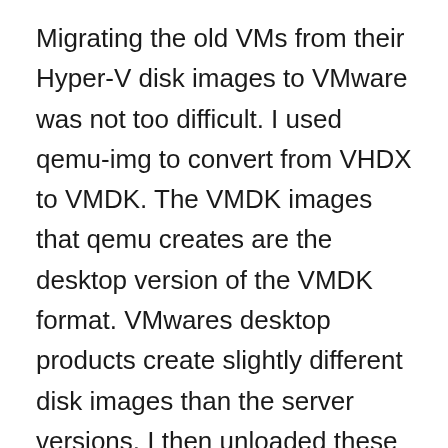Migrating the old VMs from their Hyper-V disk images to VMware was not too difficult. I used qemu-img to convert from VHDX to VMDK. The VMDK images that qemu creates are the desktop version of the VMDK format. VMwares desktop products create slightly different disk images than the server versions. I then unloaded these VMDKs onto the vSAN and used the internal vmkfstools on ESXi Shell to convert those images to the server versions. The Windows systems realized the changes, and did a hardware reset, they worked right away. The Linux systems (mostly CentOS 8) would not boot under any of the SCSI controllers VMware had. After reading online, and a bit of guessing, I booted them with the IDE controller which appeared to be the only one dracut had modules for. Once the systems were online I could do updates, and with the new kernel version they had available they made